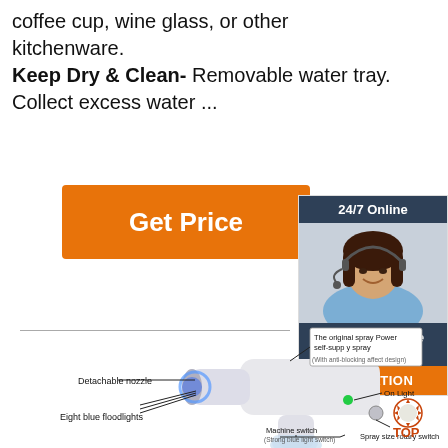coffee cup, wine glass, or other kitchenware. Keep Dry & Clean- Removable water tray. Collect excess water ...
[Figure (other): Orange 'Get Price' button]
[Figure (other): Sidebar with '24/7 Online' header, customer service photo, 'Click here for free chat!' text, and orange QUOTATION button]
[Figure (engineering-diagram): Diagram of a handheld spray device with labeled parts: Detachable nozzle, Eight blue floodlights, The original spray Power self-supply spray (With anti-blocking affect design), On Light, Spray size rotary switch, Machine switch (Strong blue light switch), and a TOP logo]